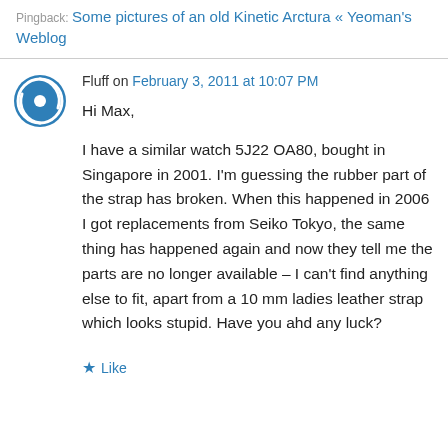Pingback: Some pictures of an old Kinetic Arctura « Yeoman's Weblog
Fluff on February 3, 2011 at 10:07 PM
Hi Max,

I have a similar watch 5J22 OA80, bought in Singapore in 2001. I'm guessing the rubber part of the strap has broken. When this happened in 2006 I got replacements from Seiko Tokyo, the same thing has happened again and now they tell me the parts are no longer available – I can't find anything else to fit, apart from a 10 mm ladies leather strap which looks stupid. Have you ahd any luck?
Like